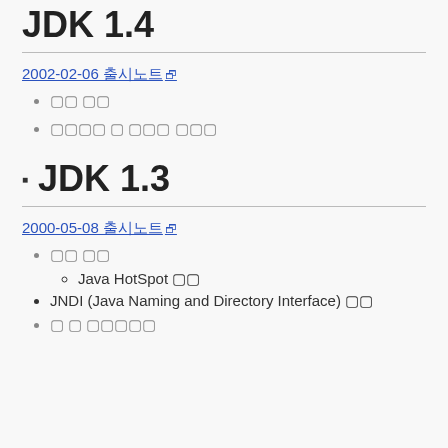JDK 1.4
2002-02-06 출시노트 [external link]
성능 향상
보안성 및 안정성 향상
JDK 1.3
2000-05-08 출시노트 [external link]
성능 향상
Java HotSpot 가상 머신
JNDI (Java Naming and Directory Interface) 추가
기타 및 버그수정